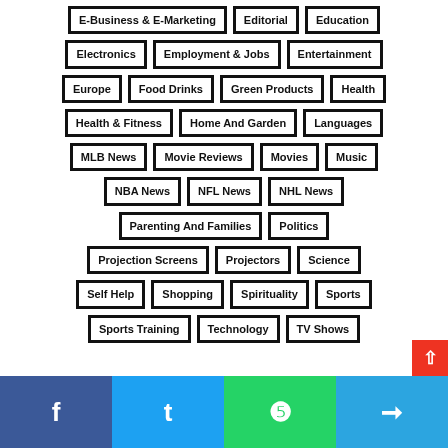E-Business & E-Marketing
Editorial
Education
Electronics
Employment & Jobs
Entertainment
Europe
Food Drinks
Green Products
Health
Health & Fitness
Home And Garden
Languages
MLB News
Movie Reviews
Movies
Music
NBA News
NFL News
NHL News
Parenting And Families
Politics
Projection Screens
Projectors
Science
Self Help
Shopping
Spirituality
Sports
Sports Training
Technology
TV Shows